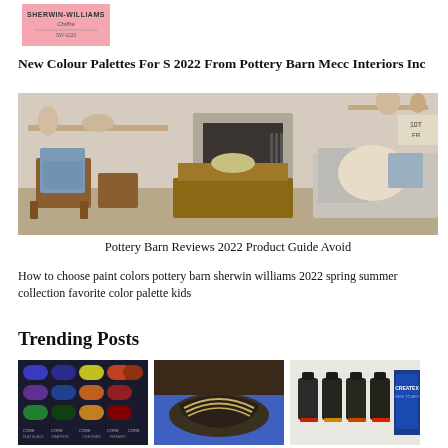[Figure (logo): Sherwin-Williams Chiffre logo on pink background]
New Colour Palettes For S 2022 From Pottery Barn Mecc Interiors Inc
[Figure (photo): Interior living room with wooden chairs, coffee table, fireplace, and light gray sofa with fur throw]
Pottery Barn Reviews 2022 Product Guide Avoid
How to choose paint colors pottery barn sherwin williams 2022 spring summer collection favorite color palette kids
Trending Posts
[Figure (photo): Grid of paint color swatches in various colors]
[Figure (photo): Close-up of striped textile or shoe]
[Figure (photo): Small bottles of paint/dye products]